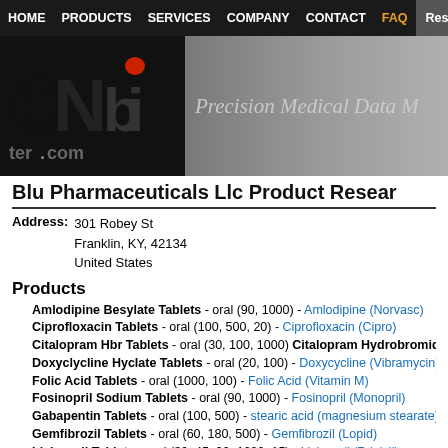HOME  PRODUCTS  SERVICES  COMPANY  CONTACT  FAQ  Resea
[Figure (logo): CNbi tercom logo with red dot and 'Precision Medical Data' tagline on banner]
Blu Pharmaceuticals Llc Product Research
Address: 301 Robey St, Franklin, KY, 42134, United States
Products
Amlodipine Besylate Tablets - oral (90, 1000) - Amlodipine (Norvasc)
Ciprofloxacin Tablets - oral (100, 500, 20) - Ciprofloxacin (Cipro)
Citalopram Hbr Tablets - oral (30, 100, 1000) Citalopram Hydrobromide Ta
Doxyclycline Hyclate Tablets - oral (20, 100) - Doxycycline (Vibramycin), dox
Folic Acid Tablets - oral (1000, 100) - Folic Acid (Vitamin M)
Fosinopril Sodium Tablets - oral (90, 1000) - Fosinopril (Monopril)
Gabapentin Tablets - oral (100, 500) - stearic acid (magnesium stearate), gab
Gemfibrozil Tablets - oral (60, 180, 500) - Gemfibrozil (Lopid)
Lisinopril Tablets - oral (30, 45, 90, 1000, 15) - Lisinopril (Prinivil)
Ramipril Capsules - oral (100, 500) - Ramipril (Altace)
Simvastatin Tablets - oral (30, 90, 1000, 45) - Simvastatin (Zocor)
Terbinafine Hydrochloride Tablets - oral (30, 100, 500) - terbinafine (Lamis